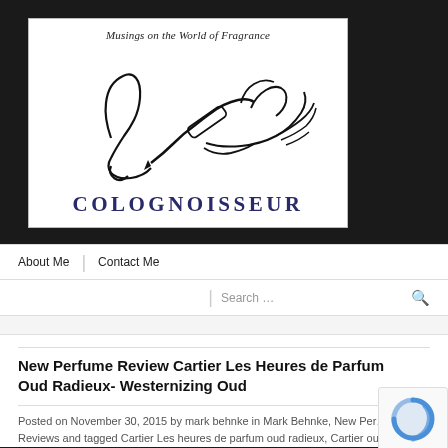[Figure (logo): Colognoisseur blog logo: line drawing of a hand holding a perfume tester near a nose, with text 'Musings on the World of Fragrance' at top and 'COLOGNOISSEUR' at bottom in dark blue serif letters]
About Me | Contact Me
Search …
New Perfume Review Cartier Les Heures de Parfum Oud Radieux- Westernizing Oud
Posted on November 30, 2015 by mark behnke in Mark Behnke, New Perfume Reviews and tagged Cartier Les heures de parfum oud radieux, Cartier oud